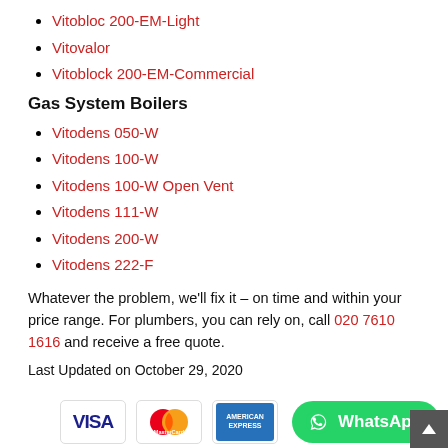Vitobloc 200-EM-Light
Vitovalor
Vitoblock 200-EM-Commercial
Gas System Boilers
Vitodens 050-W
Vitodens 100-W
Vitodens 100-W Open Vent
Vitodens 111-W
Vitodens 200-W
Vitodens 222-F
Whatever the problem, we'll fix it – on time and within your price range. For plumbers, you can rely on, call 020 7610 1616 and receive a free quote.
Last Updated on October 29, 2020
[Figure (logo): Payment icons: Visa, MasterCard, American Express, plus WhatsApp contact button]